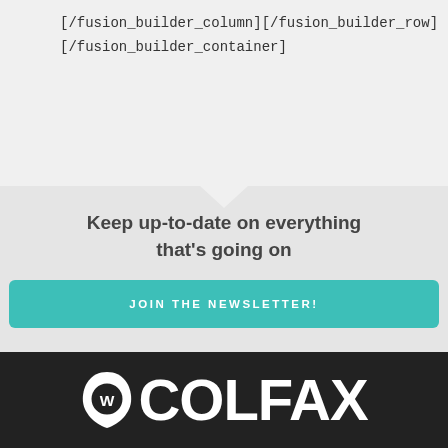[/fusion_builder_column][/fusion_builder_row]
[/fusion_builder_container]
Keep up-to-date on everything that's going on
JOIN THE NEWSLETTER!
[Figure (logo): W Colfax logo: eye icon with 'W' inside and 'COLFAX' text in white on dark background]